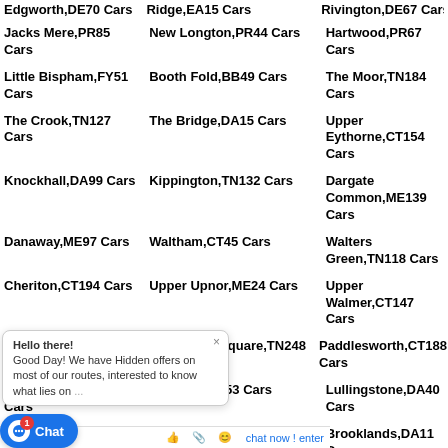Edgworth,DE70 Cars | Ridge,EA15 Cars | Rivington,DE67 Cars
Jacks Mere,PR85 Cars | New Longton,PR44 Cars | Hartwood,PR67 Cars
Little Bispham,FY51 Cars | Booth Fold,BB49 Cars | The Moor,TN184 Cars
The Crook,TN127 Cars | The Bridge,DA15 Cars | Upper Eythorne,CT154 Cars
Knockhall,DA99 Cars | Kippington,TN132 Cars | Dargate Common,ME139 Cars
Danaway,ME97 Cars | Waltham,CT45 Cars | Walters Green,TN118 Cars
Cheriton,CT194 Cars | Upper Upnor,ME24 Cars | Upper Walmer,CT147 Cars
Selling,ME139 Cars | St Georges Square,TN248 Cars | Paddlesworth,CT188 Cars
Crowdhurst,TN33 Cars | Pean Hill,CT53 Cars | Lullingstone,DA40 Cars
Rowling,CT31 Cars | Peters Village,ME13 Cars | Brooklands,DA11 Cars
New Pumfrey,... Cars | Tonbridge,TN91 Cars | Donkey Street,TN290 Cars
Cornilo Street,TN126 Cars | Fleet-Downs,DA26 Cars | Wingham,CT31 Cars